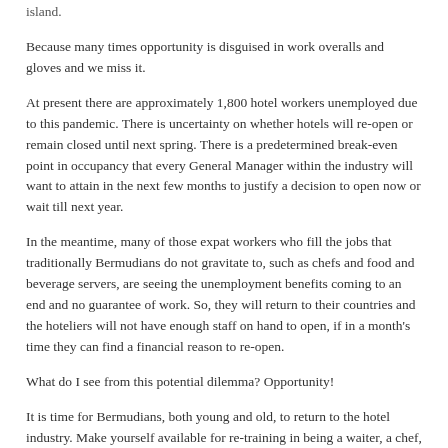island.
Because many times opportunity is disguised in work overalls and gloves and we miss it.
At present there are approximately 1,800 hotel workers unemployed due to this pandemic. There is uncertainty on whether hotels will re-open or remain closed until next spring. There is a predetermined break-even point in occupancy that every General Manager within the industry will want to attain in the next few months to justify a decision to open now or wait till next year.
In the meantime, many of those expat workers who fill the jobs that traditionally Bermudians do not gravitate to, such as chefs and food and beverage servers, are seeing the unemployment benefits coming to an end and no guarantee of work. So, they will return to their countries and the hoteliers will not have enough staff on hand to open, if in a month's time they can find a financial reason to re-open.
What do I see from this potential dilemma? Opportunity!
It is time for Bermudians, both young and old, to return to the hotel industry. Make yourself available for re-training in being a waiter, a chef, a spa attendant or a landscaper. Those of you who are already employed in the hotel industry must be willing to receive cross-training in other departments so that a room attendant can be cross-trained as a waiter, while a front desk clerk can cross-train as a hospitality or conference f...